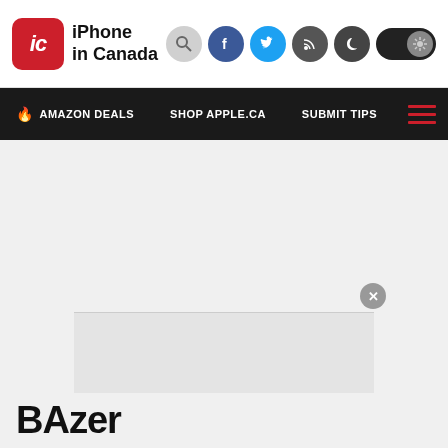iPhone in Canada
AMAZON DEALS   SHOP APPLE.CA   SUBMIT TIPS
[Figure (screenshot): Gray content area with advertisement overlay and close button]
BA...zer (partial article title, obscured by ad)